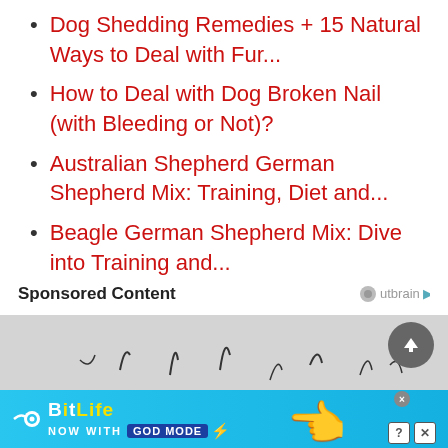Dog Shedding Remedies + 15 Natural Ways to Deal with Fur...
How to Deal with Dog Broken Nail (with Bleeding or Not)?
Australian Shepherd German Shepherd Mix: Training, Diet and...
Beagle German Shepherd Mix: Dive into Training and...
Sponsored Content
[Figure (screenshot): Sponsored content area with doodle/sketch lines on gray background, a circular scroll-to-top button with upward arrow, and a BitLife ad banner at the bottom saying NOW WITH GOD MODE]
[Figure (photo): BitLife advertisement banner: NOW WITH GOD MODE with lightning bolt, hand illustration]